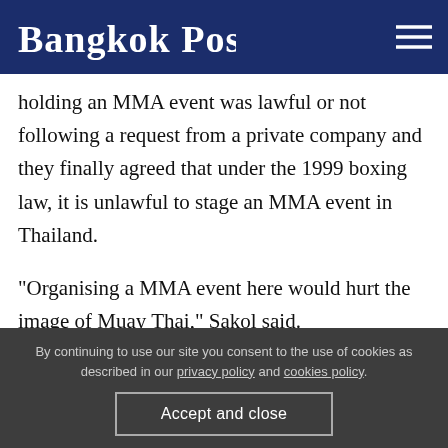Bangkok Post
holding an MMA event was lawful or not following a request from a private company and they finally agreed that under the 1999 boxing law, it is unlawful to stage an MMA event in Thailand.
"Organising a MMA event here would hurt the image of Muay Thai," Sakol said.
The e...an MMA event held in Bangkok...
By continuing to use our site you consent to the use of cookies as described in our privacy policy and cookies policy.
Accept and close